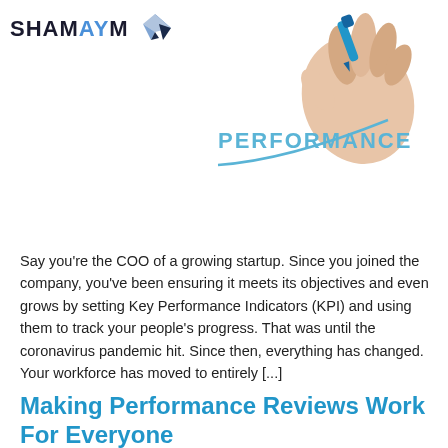[Figure (logo): SHAMAYM logo with stylized bird/hummingbird icon in blue and gray]
[Figure (photo): Hand holding a blue marker drawing an upward curve line labeled PERFORMANCE]
Say you're the COO of a growing startup. Since you joined the company, you've been ensuring it meets its objectives and even grows by setting Key Performance Indicators (KPI) and using them to track your people's progress. That was until the coronavirus pandemic hit. Since then, everything has changed. Your workforce has moved to entirely [...]
Making Performance Reviews Work For Everyone